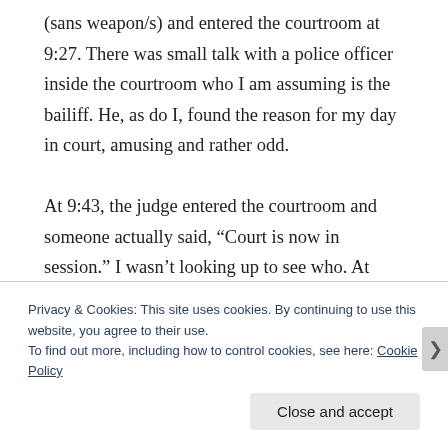(sans weapon/s) and entered the courtroom at 9:27. There was small talk with a police officer inside the courtroom who I am assuming is the bailiff. He, as do I, found the reason for my day in court, amusing and rather odd.

At 9:43, the judge entered the courtroom and someone actually said, “Court is now in session.” I wasn’t looking up to see who. At 9:44, I was escorted to the area in between the attorney’s desks and in front of the judge where a music
Privacy & Cookies: This site uses cookies. By continuing to use this website, you agree to their use.
To find out more, including how to control cookies, see here: Cookie Policy